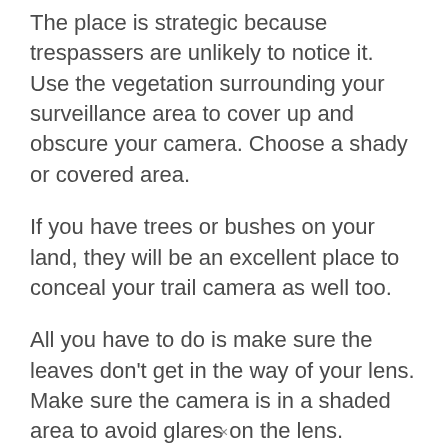The place is strategic because trespassers are unlikely to notice it. Use the vegetation surrounding your surveillance area to cover up and obscure your camera. Choose a shady or covered area.
If you have trees or bushes on your land, they will be an excellent place to conceal your trail camera as well too.
All you have to do is make sure the leaves don't get in the way of your lens. Make sure the camera is in a shaded area to avoid glares on the lens.
×